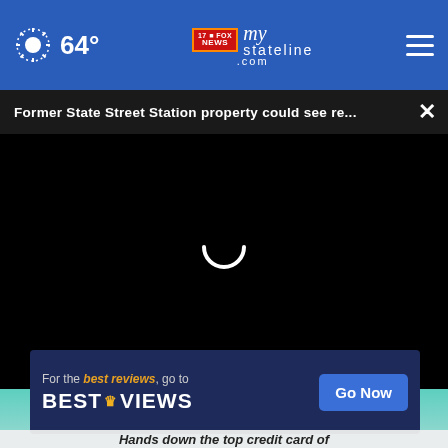64° mystateline.com NEWS
Former State Street Station property could see re...
[Figure (screenshot): Black video player area with white loading spinner (U-shape arc) centered on black background]
[Figure (photo): Partial photo of a person with teal/green background, with circular close button overlay]
[Figure (infographic): Advertisement banner: For the best reviews, go to BESTREVIEWS with Go Now button]
Hands down the top credit card of